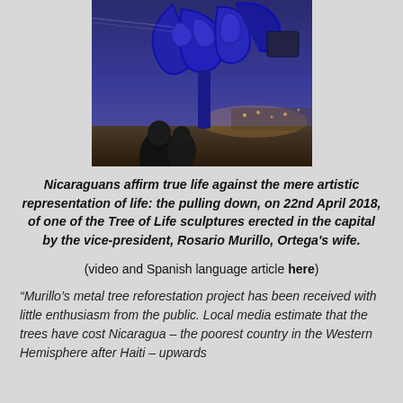[Figure (photo): Photo of a large blue metallic Tree of Life sculpture being pulled down, with people watching in the foreground and a dusk sky in the background.]
Nicaraguans affirm true life against the mere artistic representation of life: the pulling down, on 22nd April 2018, of one of the Tree of Life sculptures erected in the capital by the vice-president, Rosario Murillo, Ortega's wife.
(video and Spanish language article here)
“Murillo’s metal tree reforestation project has been received with little enthusiasm from the public. Local media estimate that the trees have cost Nicaragua – the poorest country in the Western Hemisphere after Haiti – upwards